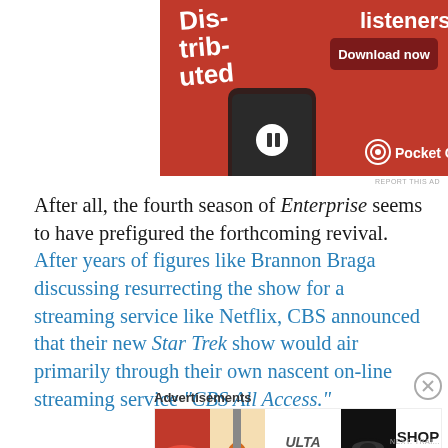[Figure (photo): Pocket Casts advertisement on red background showing a smartphone with podcast app and 'Download now' button, with text 'Dis-trib-uted' and 'listeners.' and the Pocket Casts logo]
After all, the fourth season of Enterprise seems to have prefigured the forthcoming revival. After years of figures like Brannon Braga discussing resurrecting the show for a streaming service like Netflix, CBS announced that their new Star Trek show would air primarily through their own nascent on-line streaming service “CBS All Access.”
[Figure (photo): Ulta Beauty advertisement showing makeup and eyes with 'SHOP NOW' text]